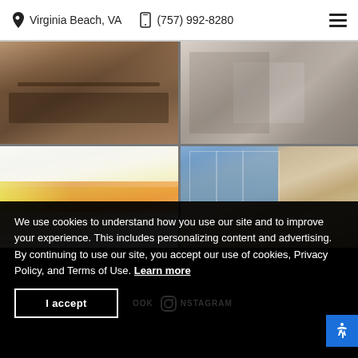Virginia Beach, VA  (757) 992-8280
[Figure (photo): Four-photo grid showing: top-left cooking/hands scene, top-right fashion/clothing scene, bottom-left modern cafe interior with yellow accents, bottom-right modern building lobby with large windows]
We use cookies to understand how you use our site and to improve your experience. This includes personalizing content and advertising.
By continuing to use our site, you accept our use of cookies, Privacy Policy, and Terms of Use. Learn more
I accept